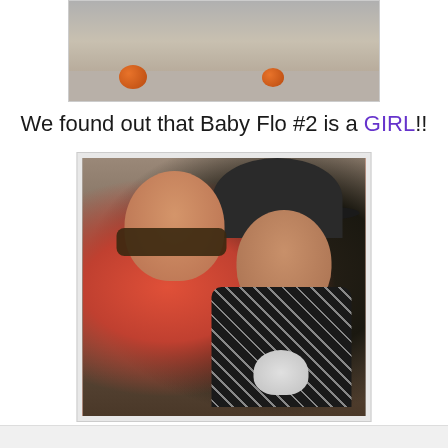[Figure (photo): Top portion of a photo showing pumpkins on a gray/concrete floor outside a building]
We found out that Baby Flo #2 is a GIRL!!
[Figure (photo): A smiling woman wearing sunglasses and a red top posing with a young toddler dressed in a Michael Jackson costume (sequined jacket, fedora hat, and white glove)]